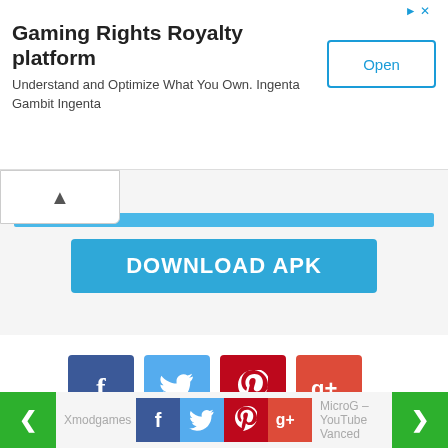[Figure (screenshot): Ad banner: Gaming Rights Royalty platform with Open button]
Gaming Rights Royalty platform
Understand and Optimize What You Own. Ingenta Gambit Ingenta
[Figure (screenshot): DOWNLOAD APK button in blue]
[Figure (infographic): Social share icons: Facebook, Twitter, Pinterest, Google+]
SIMILAR APPS
[Figure (screenshot): Three app card placeholders in similar apps section]
Xmodgames   MicroG – YouTube Vanced